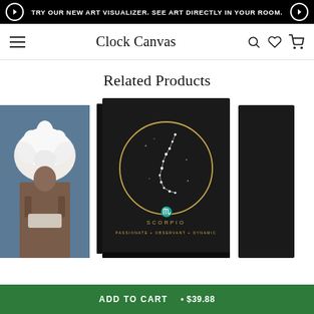TRY OUR NEW ART VISUALIZER. SEE ART DIRECTLY IN YOUR ROOM.
Clock Canvas
Related Products
[Figure (photo): Three product images: left - a woman with white floral headdress on blue background canvas print; center - a black canvas with gold circle constellation map labeled SCORPIO with text PASSIONATE + OBSERVANT + DYNAMIC; right - partially visible black canvas product]
ADD TO CART  •  $39.88